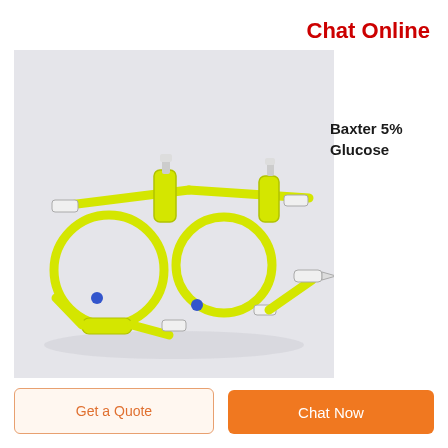Chat Online
Baxter 5% Glucose
[Figure (photo): Medical IV infusion set with yellow tubing, drip chambers, and connectors coiled on a light gray background — appears to be a Baxter 5% Glucose IV administration set.]
Get a Quote
Chat Now